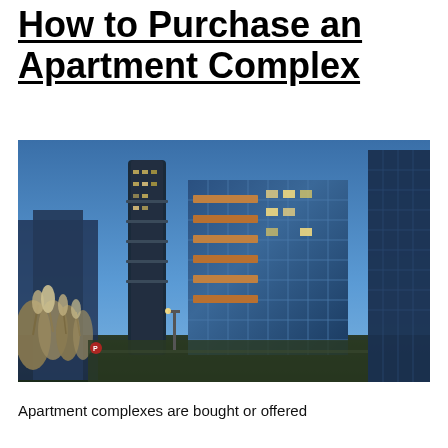How to Purchase an Apartment Complex
[Figure (photo): Nighttime photograph of a modern glass apartment complex in an urban setting, with illuminated balconies and a tall cylindrical tower visible in the background, ornamental grasses in the foreground.]
Apartment complexes are bought or offered